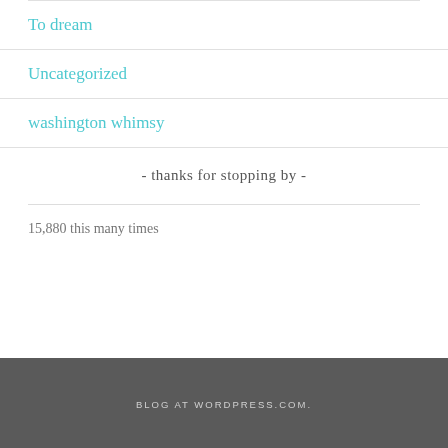To dream
Uncategorized
washington whimsy
- thanks for stopping by -
15,880 this many times
BLOG AT WORDPRESS.COM.